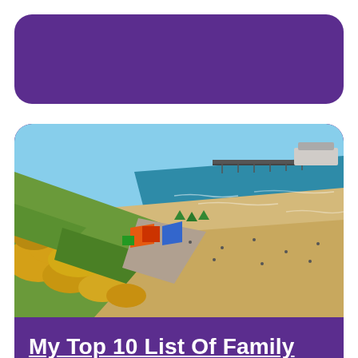[Figure (other): Purple rounded rectangle banner at top of page]
[Figure (photo): Aerial view of Bournemouth beach showing sandy shore with people, a pier extending into the sea, yellow gorse-covered cliffs in the foreground, colourful beach huts and attractions along the promenade, blue sea under a clear sky]
My Top 10 List Of Family Friendly Things To Do In Bournemouth